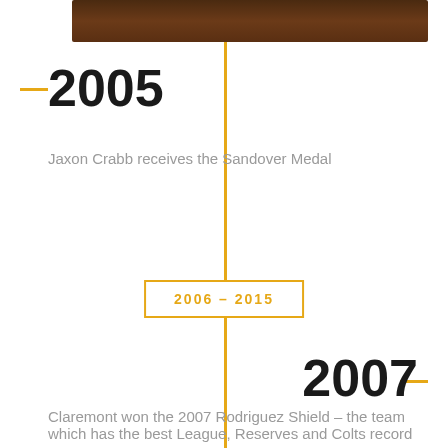[Figure (infographic): Vertical timeline with golden center line, year markers for 2005 and 2007 on alternating sides, a period box labeled 2006–2015, and descriptive text entries for each year.]
2005
Jaxon Crabb receives the Sandover Medal
2006 – 2015
2007
Claremont won the 2007 Rodriguez Shield – the team which has the best League, Reserves and Colts record